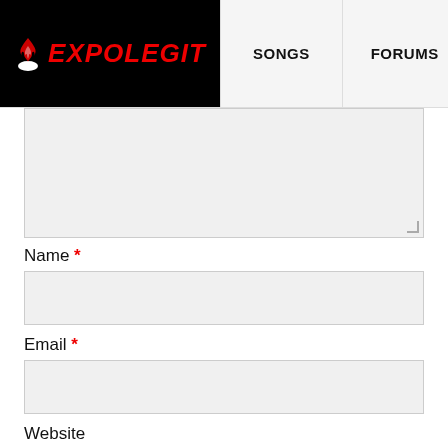EXPOLEGIT | SONGS | FORUMS | MORE
Name *
Email *
Website
Save my name, email, and website in this browser for the next time I comment.